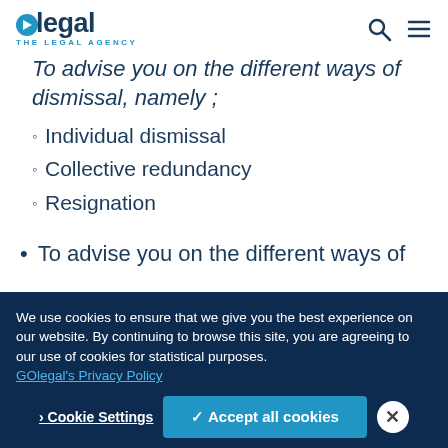GOlegal THE LEGAL AGENCY
To advise you on the different ways of dismissal, namely ;
Individual dismissal
Collective redundancy
Resignation
To advise you on the different ways of
We use cookies to ensure that we give you the best experience on our website. By continuing to browse this site, you are agreeing to our use of cookies for statistical purposes. GOlegal's Privacy Policy